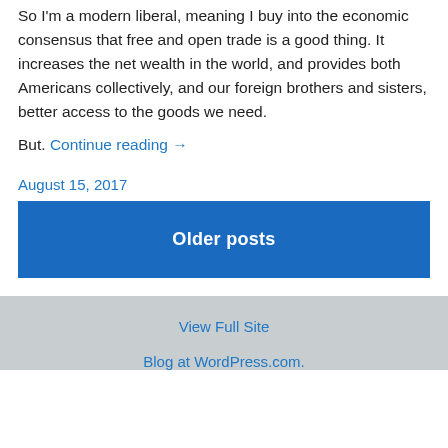So I'm a modern liberal, meaning I buy into the economic consensus that free and open trade is a good thing. It increases the net wealth in the world, and provides both Americans collectively, and our foreign brothers and sisters, better access to the goods we need.
But. Continue reading →
August 15, 2017
Older posts
View Full Site
Blog at WordPress.com.